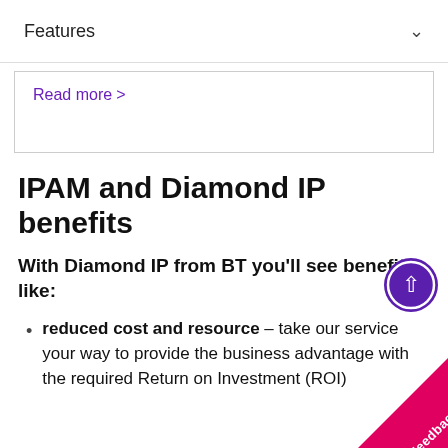Features
Read more >
IPAM and Diamond IP benefits
With Diamond IP from BT you'll see benefits like:
reduced cost and resource – take our service your way to provide the business advantage with the required Return on Investment (ROI)